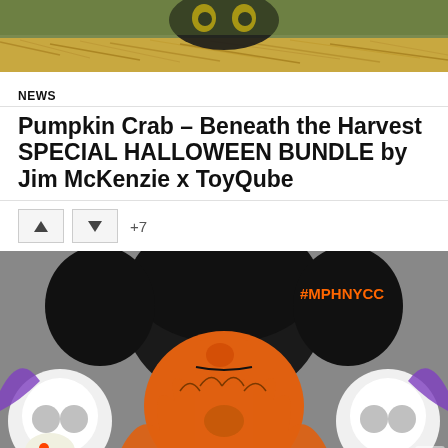[Figure (photo): Top portion of a toy/art figure with pumpkin-like yellow eye markings against hay/straw background, outdoor setting]
NEWS
Pumpkin Crab – Beneath the Harvest SPECIAL HALLOWEEN BUNDLE by Jim McKenzie x ToyQube
[Figure (photo): Close-up of a large black and orange designer toy figure (Pumpkin Crab) with white skull-shaped figures flanking it, orange flame details, orange hat-shaped chest piece, and #MPHNYCC hashtag text overlay in orange]